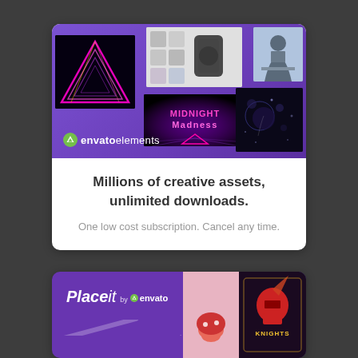[Figure (illustration): Envato Elements promotional card with purple banner showing creative asset thumbnails (neon triangle, watch design, retro text graphic, person at desk, bokeh photo), Envato Elements logo, and white text section below]
Millions of creative assets, unlimited downloads.
One low cost subscription. Cancel any time.
[Figure (illustration): Placeit by Envato promotional card with purple background, Placeit logo, decorative dots, and two thumbnail images on the right side]